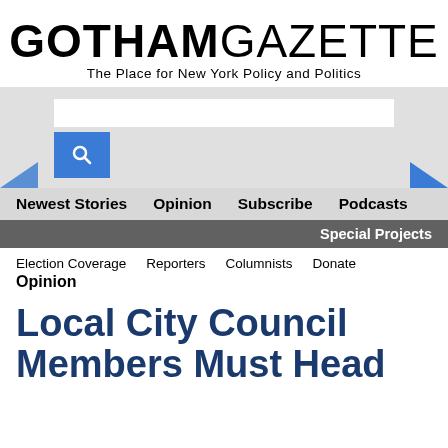GOTHAM GAZETTE — The Place for New York Policy and Politics
[Figure (screenshot): Search bar input field with blue search button containing a magnifying glass icon, flanked by blue arrow chevrons on a gray background]
Newest Stories   Opinion   Subscribe   Podcasts
Special Projects
Election Coverage   Reporters   Columnists   Donate
Opinion
Local City Council Members Must Head